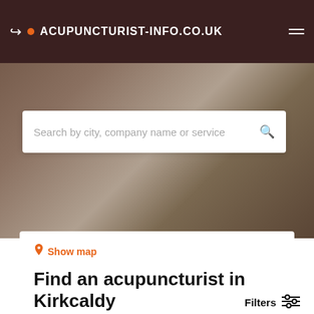ACUPUNCTURIST-INFO.CO.UK
Search by city, company name or service
Show map
Find an acupuncturist in Kirkcaldy
Find the best acupuncturist in Kirkcaldy based on your preferences. For example, use our filter options to search for chinese acupuncture, japanese acupuncture or chinese herbal medicine. In our Terms and Conditions you will find more information about how our search results are generated.
Filters